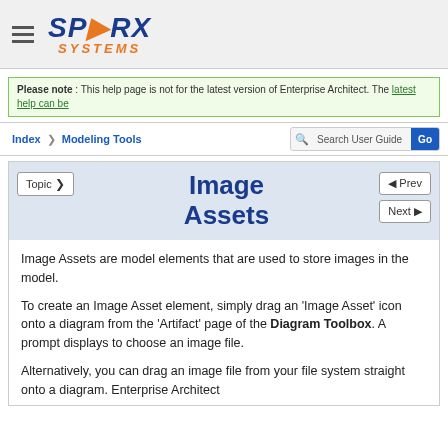Sparx Systems
Please note : This help page is not for the latest version of Enterprise Architect. The latest help can be
Index  Modeling Tools  Search User Guide  Go
Image Assets
Image Assets are model elements that are used to store images in the model.
To create an Image Asset element, simply drag an 'Image Asset' icon onto a diagram from the 'Artifact' page of the Diagram Toolbox. A prompt displays to choose an image file.
Alternatively, you can drag an image file from your file system straight onto a diagram. Enterprise Architect